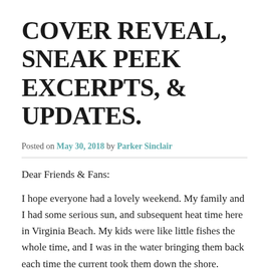COVER REVEAL, SNEAK PEEK EXCERPTS, & UPDATES.
Posted on May 30, 2018 by Parker Sinclair
Dear Friends & Fans:
I hope everyone had a lovely weekend. My family and I had some serious sun, and subsequent heat time here in Virginia Beach. My kids were like little fishes the whole time, and I was in the water bringing them back each time the current took them down the shore. Parenthood isn't for the faint of heart.